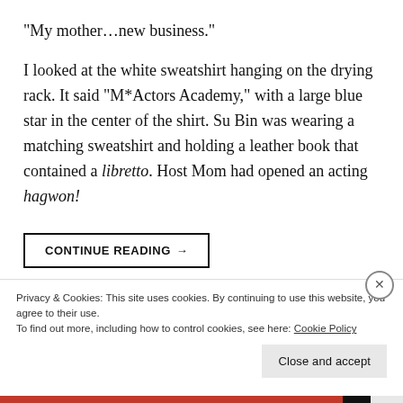“My mother…new business.”
I looked at the white sweatshirt hanging on the drying rack. It said “M*Actors Academy,” with a large blue star in the center of the shirt. Su Bin was wearing a matching sweatshirt and holding a leather book that contained a libretto. Host Mom had opened an acting hagwon!
CONTINUE READING →
Privacy & Cookies: This site uses cookies. By continuing to use this website, you agree to their use.
To find out more, including how to control cookies, see here: Cookie Policy
Close and accept